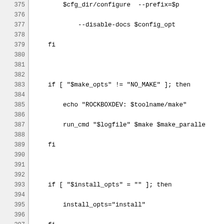[Figure (screenshot): Shell script source code showing lines 375-405, including configure/make/install logic and build() function definition with variable assignments]